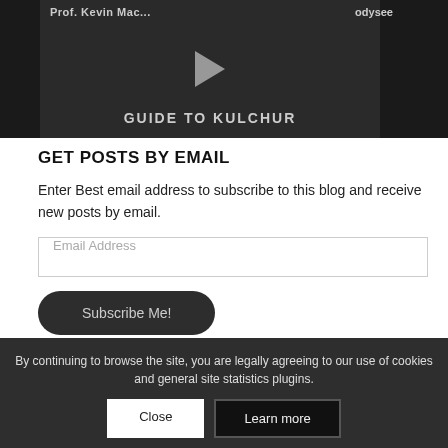[Figure (screenshot): Video thumbnail showing 'Guide to Kulchur' with Prof. Kevin Mac... and Odysee branding, dark background with play button]
GET POSTS BY EMAIL
Enter Best email address to subscribe to this blog and receive new posts by email.
Email Address
Subscribe Me!
By continuing to browse the site, you are legally agreeing to our use of cookies and general site statistics plugins.
Close
Learn more
THE POWER...S YOU NEVER ELECTED